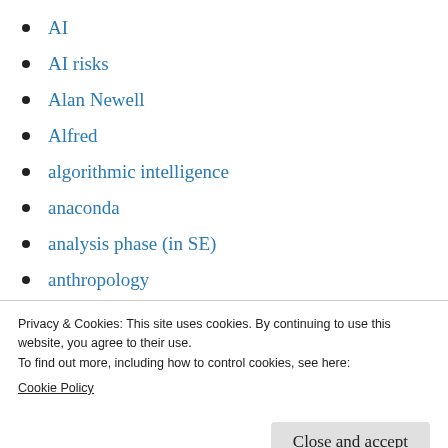AI
AI risks
Alan Newell
Alfred
algorithmic intelligence
anaconda
analysis phase (in SE)
anthropology
application domain
application scenario
application scenario [AS]
Privacy & Cookies: This site uses cookies. By continuing to use this website, you agree to their use.
To find out more, including how to control cookies, see here:
Cookie Policy
artificial intelligence